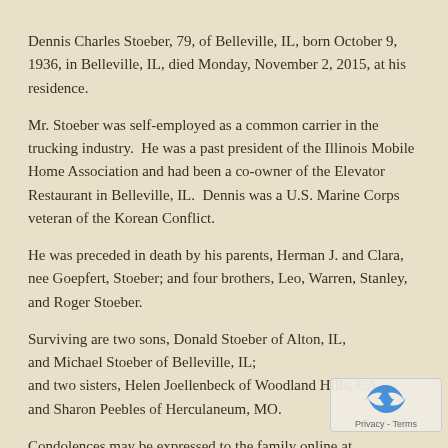Dennis Charles Stoeber, 79, of Belleville, IL, born October 9, 1936, in Belleville, IL, died Monday, November 2, 2015, at his residence.
Mr. Stoeber was self-employed as a common carrier in the trucking industry. He was a past president of the Illinois Mobile Home Association and had been a co-owner of the Elevator Restaurant in Belleville, IL. Dennis was a U.S. Marine Corps veteran of the Korean Conflict.
He was preceded in death by his parents, Herman J. and Clara, nee Goepfert, Stoeber; and four brothers, Leo, Warren, Stanley, and Roger Stoeber.
Surviving are two sons, Donald Stoeber of Alton, IL, and Michael Stoeber of Belleville, IL; and two sisters, Helen Joellenbeck of Woodland Hills, CA, and Sharon Peebles of Herculaneum, MO.
Condolences may be expressed to the family online at www.rennerfh.com.
Funeral: Graveside services with military honors will be held at 1 a.m. Tuesday, November 10, 2015, at Valhalla Gardens of Memory,